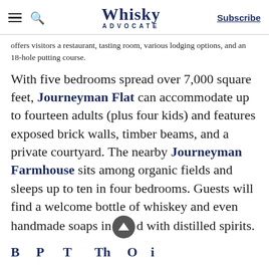Whisky Advocate — Subscribe
offers visitors a restaurant, tasting room, various lodging options, and an 18-hole putting course.
With five bedrooms spread over 7,000 square feet, Journeyman Flat can accommodate up to fourteen adults (plus four kids) and features exposed brick walls, timber beams, and a private courtyard. The nearby Journeyman Farmhouse sits among organic fields and sleeps up to ten in four bedrooms. Guests will find a welcome bottle of whiskey and even handmade soaps infused with distilled spirits.
Beyond that and together Those Oaking...